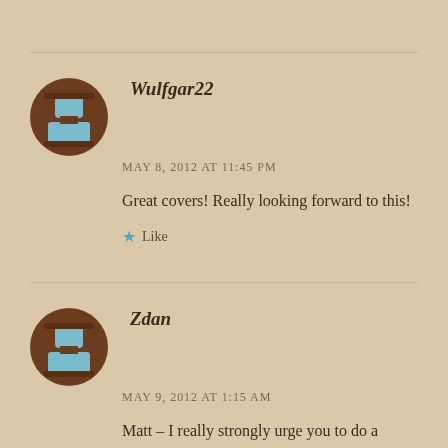[Figure (illustration): Circular avatar icon with brown background and teal/blue geometric person silhouette, for user Wulfgar22]
Wulfgar22
MAY 8, 2012 AT 11:45 PM
Great covers! Really looking forward to this!
Like
[Figure (illustration): Circular avatar icon with brown background and teal/blue geometric person silhouette, for user Zdan]
Zdan
MAY 9, 2012 AT 1:15 AM
Matt – I really strongly urge you to do a